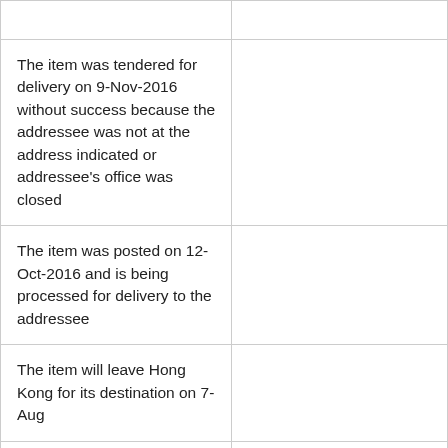|  |  |
| --- | --- |
|  |  |
| The item was tendered for delivery on 9-Nov-2016 without success because the addressee was not at the address indicated or addressee's office was closed |  |
| The item was posted on 12-Oct-2016 and is being processed for delivery to the addressee |  |
| The item will leave Hong Kong for its destination on 7-Aug |  |
| The item is pending customs inspection at the destination as of 6-Dec-2016 | [Naik button] |
|  |  |